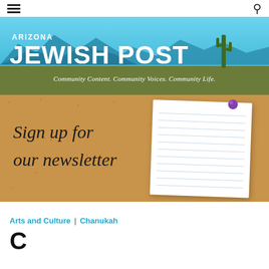Arizona Jewish Post
[Figure (logo): Arizona Jewish Post logo banner with mountain skyline, saguaro cactus, blue sky, and olive-green bar with tagline 'Community Content. Community Voices. Community Life.']
[Figure (illustration): Corkboard background with handwritten-style text 'Sign up for our newsletter' and a white lined notepad paper pinned with a purple pushpin]
Arts and Culture | Chanukah
C...